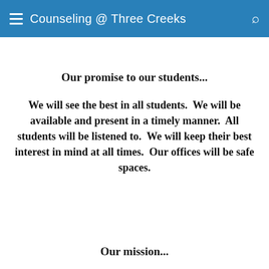Counseling @ Three Creeks
Our promise to our students...
We will see the best in all students.  We will be available and present in a timely manner.  All students will be listened to.  We will keep their best interest in mind at all times.  Our offices will be safe spaces.
Our mission...